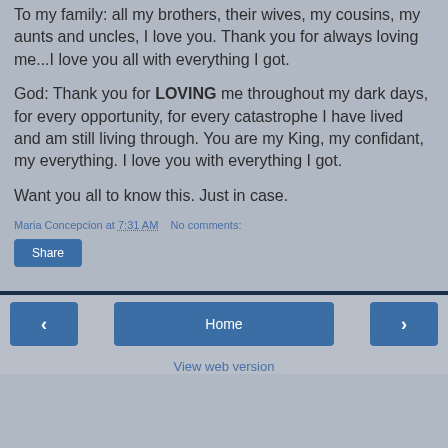To my family: all my brothers, their wives, my cousins, my aunts and uncles, I love you. Thank you for always loving me...I love you all with everything I got.
God: Thank you for LOVING me throughout my dark days, for every opportunity, for every catastrophe I have lived and am still living through. You are my King, my confidant, my everything. I love you with everything I got.
Want you all to know this. Just in case.
Maria Concepcion at 7:31 AM   No comments:
Share
‹   Home   ›   View web version